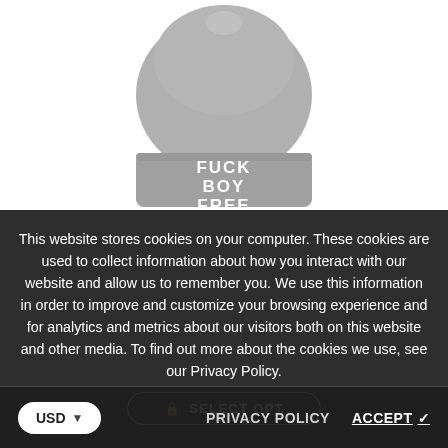[Figure (photo): A grey beanie hat with 'FUCK BOY FREE' printed in white bold text on the cuff, shown on a white background.]
This website stores cookies on your computer. These cookies are used to collect information about how you interact with our website and allow us to remember you. We use this information in order to improve and customize your browsing experience and for analytics and metrics about our visitors both on this website and other media. To find out more about the cookies we use, see our Privacy Policy.
🔒 SELECT OPT
PRIVACY POLICY
ACCEPT ✓
USD ▾